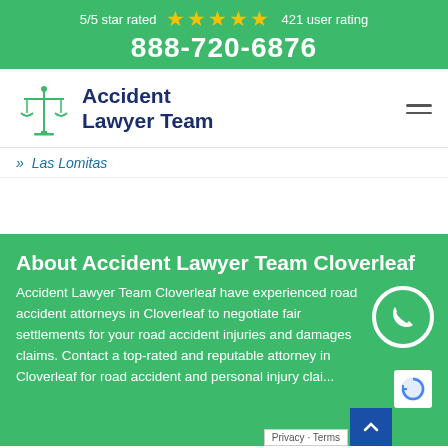5/5 star rated ★★★★★ 421 user rating
888-720-6876
[Figure (logo): Accident Lawyer Team logo with scales of justice icon in green and blue text]
» Las Lomitas
About Accident Lawyer Team Cloverleaf
Accident Lawyer Team Cloverleaf have experienced road accident attorneys in Cloverleaf to negotiate fair settlements for your road accident injuries and damages claims. Contact a top-rated and reputable attorney in Cloverleaf for road accident and personal injury clai...